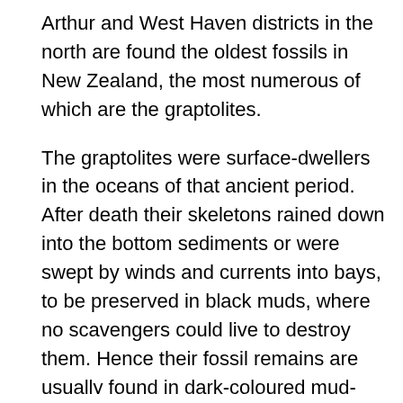Arthur and West Haven districts in the north are found the oldest fossils in New Zealand, the most numerous of which are the graptolites.
The graptolites were surface-dwellers in the oceans of that ancient period. After death their skeletons rained down into the bottom sediments or were swept by winds and currents into bays, to be preserved in black muds, where no scavengers could live to destroy them. Hence their fossil remains are usually found in dark-coloured mud-stones or slates, forming a white, flattened impression on a dark ground. The graptolites were quite unlike any marine animals of to-day and they left no descendants. But the fossil remains of these creatures are of great value to the